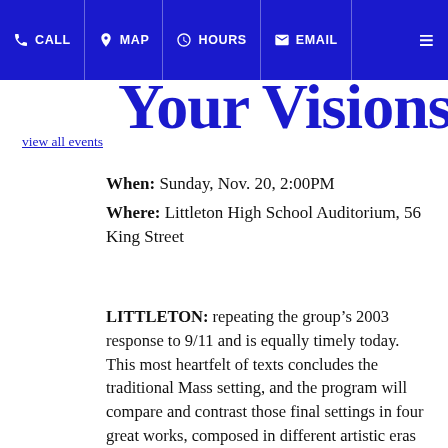CALL  MAP  HOURS  EMAIL
Your Visions
view all events
When: Sunday, Nov. 20, 2:00PM
Where: Littleton High School Auditorium, 56 King Street
LITTLETON: repeating the group’s 2003 response to 9/11 and is equally timely today.  This most heartfelt of texts concludes the traditional Mass setting, and the program will compare and contrast those final settings in four great works, composed in different artistic eras and representing very different philosophical approaches to the text.  The program consists of excerpts from Johann Sebastian Bach’s B-minor Mass, Joseph Haydn’s Harmoniemesse, Franz Schubert’s Grand Mass in E-flat, and Ludwig van Beethoven’s Missa Solemnis. Also featured is outstanding pianist Sonya Ovrutsky Fensome, who will present